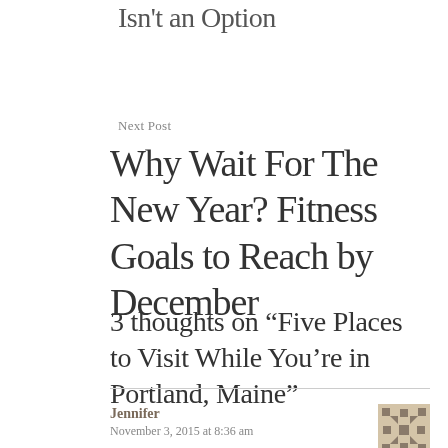Isn't an Option
Next Post
Why Wait For The New Year? Fitness Goals to Reach by December
3 thoughts on “Five Places to Visit While You’re in Portland, Maine”
Jennifer
November 3, 2015 at 8:36 am